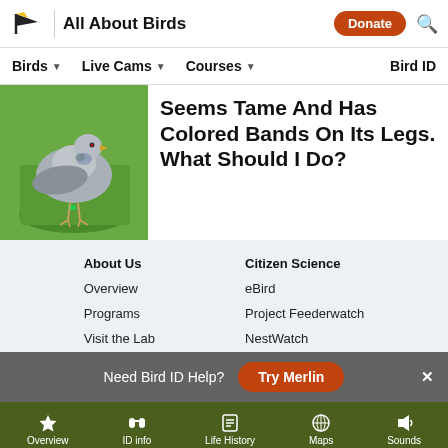All About Birds
Birds  Live Cams  Courses  Bird ID
[Figure (photo): A pigeon with a green band on its leg, standing on a surface with green blurred background]
Seems Tame And Has Colored Bands On Its Legs. What Should I Do?
About Us
Overview
Programs
Visit the Lab
Citizen Science
eBird
Project Feederwatch
NestWatch
Need Bird ID Help? Try Merlin
Overview  ID info  Life History  Maps  Sounds